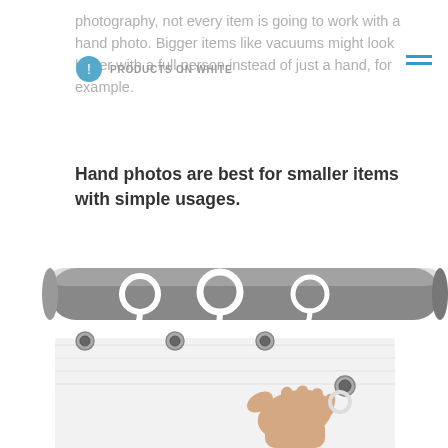photography, not every item is going to work with a hand photo. Bigger items like vacuums might look better with a full person instead of just a hand, for example.
PRODUCTS ON WHITE
Hand photos are best for smaller items with simple usages.
[Figure (photo): A hand holding a clear shower curtain with metal grommets, hanging from white plastic hooks on a silver shower rod, against a white background.]